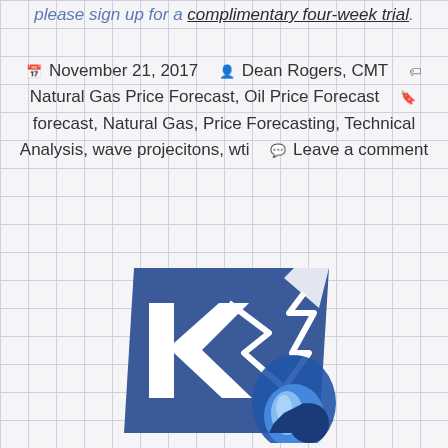please sign up for a complimentary four-week trial.
November 21, 2017  Dean Rogers, CMT  Natural Gas Price Forecast, Oil Price Forecast  forecast, Natural Gas, Price Forecasting, Technical Analysis, wave projecitons, wti  Leave a comment
[Figure (logo): KN logo — a blue diamond shape with white letter K and a lightning bolt/chart line, overlaid with a blue flame icon]